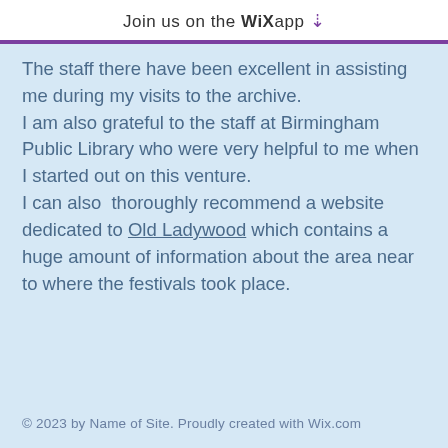Join us on the WiX app ↓
The staff there have been excellent in assisting me during my visits to the archive.
I am also grateful to the staff at Birmingham Public Library who were very helpful to me when I started out on this venture.
I can also  thoroughly recommend a website dedicated to Old Ladywood which contains a huge amount of information about the area near to where the festivals took place.
© 2023 by Name of Site. Proudly created with Wix.com